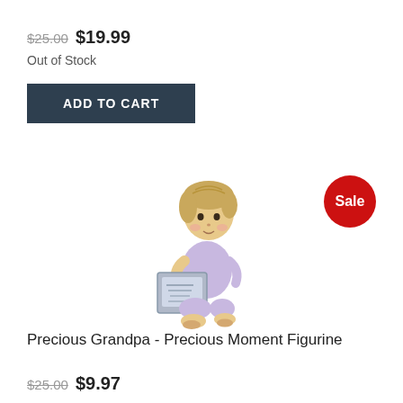$25.00 $19.99
Out of Stock
ADD TO CART
[Figure (photo): Precious Moments figurine of a child holding a picture frame, with a red Sale badge in the upper right]
Precious Grandpa - Precious Moment Figurine
$25.00 $9.97